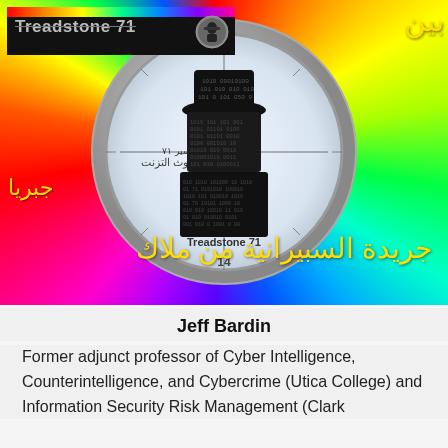[Figure (illustration): Treadstone 71 logo banner at top with colorful stripe, and a large circular compass/target graphic with a stylized hacker figure made of binary code wearing a hat, Arabic text overlays on rainbow burst background. The text 'Treadstone 71' appears inside the compass. Number '14' visible at bottom of compass. Arabic calligraphy in yellow on the background.]
Jeff Bardin
Former adjunct professor of Cyber Intelligence, Counterintelligence, and Cybercrime (Utica College) and Information Security Risk Management (Clark